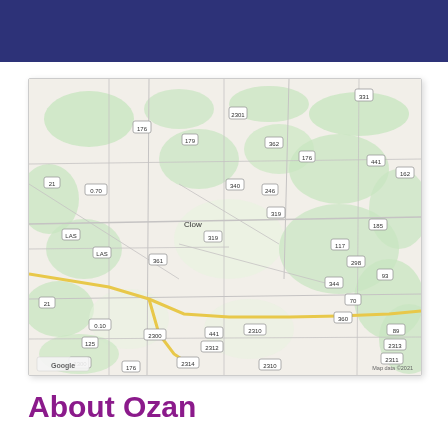[Figure (map): Google Maps view of Ozan, Arkansas and surrounding area showing local roads, green vegetation patches, and nearby communities including Ozan and Clow. Road markers visible including routes 299, 355, 179, 176, 74, 441, 361, 162, 113, 246, 319, 344, 117, 363, 293, 270, 314, 134, 361, 22, and others. A yellow road curves through the bottom portion of the map. Map data 2021 copyright Google.]
About Ozan